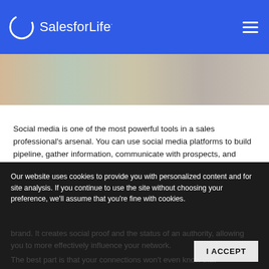Sales for Life
[Figure (photo): Hero image showing hands and writing surface, partially visible]
Social media is one of the most powerful tools in a sales professional's arsenal. You can use social media platforms to build pipeline, gather information, communicate with prospects, and conduct research. But one of the most powerful ways to use social media is for establishing your and your company's brand and authority—and the easiest way to do this is via content.
Our website uses cookies to provide you with personalized content and for site analysis. If you continue to use the site without choosing your preference, we'll assume that you're fine with cookies.